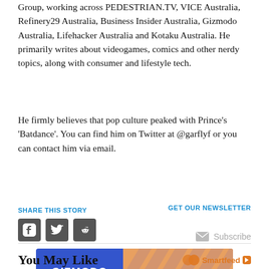Group, working across PEDESTRIAN.TV, VICE Australia, Refinery29 Australia, Business Insider Australia, Gizmodo Australia, Lifehacker Australia and Kotaku Australia. He primarily writes about videogames, comics and other nerdy topics, along with consumer and lifestyle tech.
He firmly believes that pop culture peaked with Prince's 'Batdance'. You can find him on Twitter at @garflyf or you can contact him via email.
SHARE THIS STORY
[Figure (infographic): Social share icons: Facebook, Twitter, Reddit (dark grey square buttons)]
GET OUR NEWSLETTER
Subscribe
[Figure (infographic): Gizmodo Follow Us On Twitter advertisement banner - blue background with orange/yellow diagonal stripes]
You May Like
Smartfeed